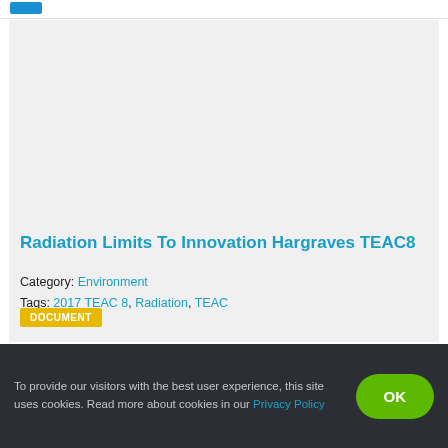[Figure (screenshot): Gray image placeholder area inside a card]
Radiation Limits To Innovation Hargraves TEAC8
Category: Environment
Tags: 2017 TEAC 8, Radiation, TEAC
DOCUMENT
To provide our visitors with the best user experience, this site uses cookies. Read more about cookies in our Privacy Policy